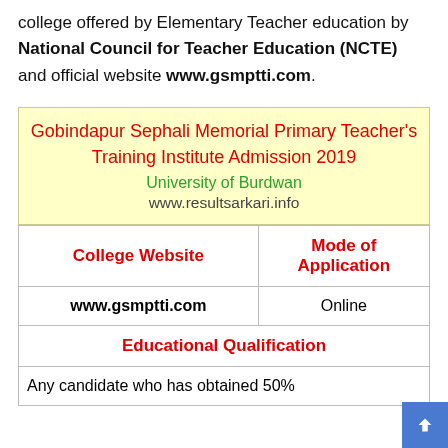college offered by Elementary Teacher education by National Council for Teacher Education (NCTE) and official website www.gsmptti.com.
| Gobindapur Sephali Memorial Primary Teacher's Training Institute Admission 2019 | University of Burdwan | www.resultsarkari.info |
| College Website | Mode of Application |
| www.gsmptti.com | Online |
| Educational Qualification |  |
| Any candidate who has obtained 50% |  |